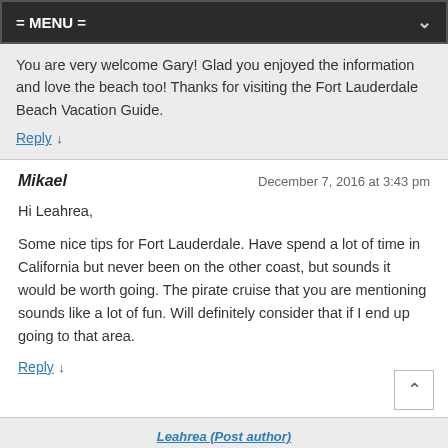= MENU =
You are very welcome Gary! Glad you enjoyed the information and love the beach too! Thanks for visiting the Fort Lauderdale Beach Vacation Guide.
Reply ↓
Mikael   December 7, 2016 at 3:43 pm
Hi Leahrea,
Some nice tips for Fort Lauderdale. Have spend a lot of time in California but never been on the other coast, but sounds it would be worth going. The pirate cruise that you are mentioning sounds like a lot of fun. Will definitely consider that if I end up going to that area.
Reply ↓